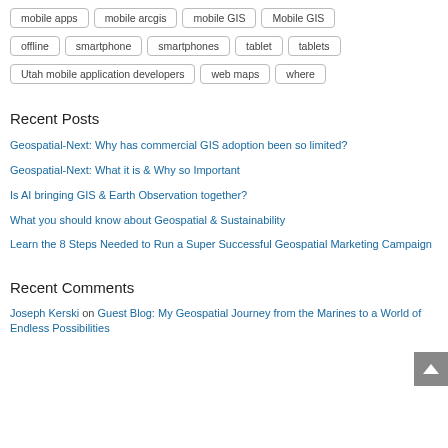mobile apps
mobile arcgis
mobile GIS
Mobile GIS
offline
smartphone
smartphones
tablet
tablets
Utah mobile application developers
web maps
where
Recent Posts
Geospatial-Next: Why has commercial GIS adoption been so limited?
Geospatial-Next: What it is & Why so Important
Is AI bringing GIS & Earth Observation together?
What you should know about Geospatial & Sustainability
Learn the 8 Steps Needed to Run a Super Successful Geospatial Marketing Campaign
Recent Comments
Joseph Kerski on Guest Blog: My Geospatial Journey from the Marines to a World of Endless Possibilities